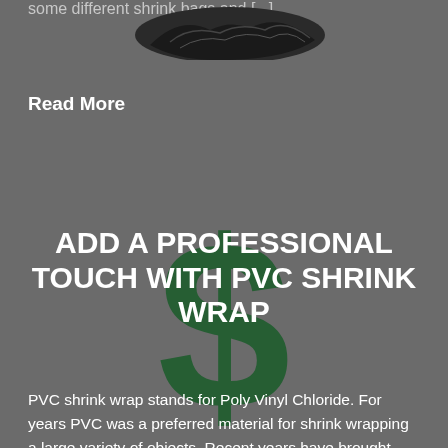some different shrink bags and [...]
[Figure (photo): Crumpled dark shrink bag photographed against grey background]
Read More
[Figure (illustration): Large dark green dollar sign watermark behind title text]
ADD A PROFESSIONAL TOUCH WITH PVC SHRINK WRAP
PVC shrink wrap stands for Poly Vinyl Chloride. For years PVC was a preferred material for shrink wrapping a large variety of objects. Recent years have brought new developments in materials used